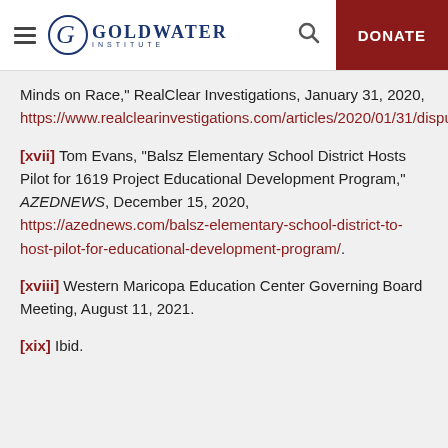Goldwater Institute
Minds on Race," RealClear Investigations, January 31, 2020, https://www.realclearinvestigations.com/articles/2020/01/31/disputed_ny_times_1619_project_is_already_shaping_kids_minds_on_race_bias_122192.html.
[xvii] Tom Evans, "Balsz Elementary School District Hosts Pilot for 1619 Project Educational Development Program," AZEDNEWS, December 15, 2020, https://azednews.com/balsz-elementary-school-district-to-host-pilot-for-educational-development-program/.
[xviii] Western Maricopa Education Center Governing Board Meeting, August 11, 2021.
[xix] Ibid.